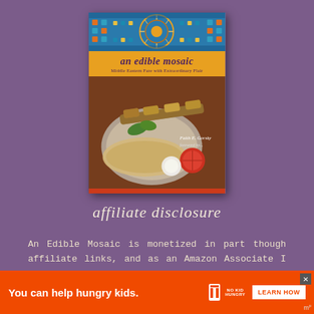[Figure (photo): Book cover of 'an edible mosaic: Middle Eastern Fare with Extraordinary Flair' showing grilled kebabs on flatbread with tomatoes and onions, yellow title bar, blue/orange mosaic pattern at top]
affiliate disclosure
An Edible Mosaic is monetized in part though affiliate links, and as an Amazon Associate I earn from qualifying purchases. This means that if you click on an affiliate link and/or purchase an item after clicking on an affiliate link, I may receive a
[Figure (infographic): Orange advertisement bar at bottom: 'You can help hungry kids.' with No Kid Hungry logo and LEARN HOW button]